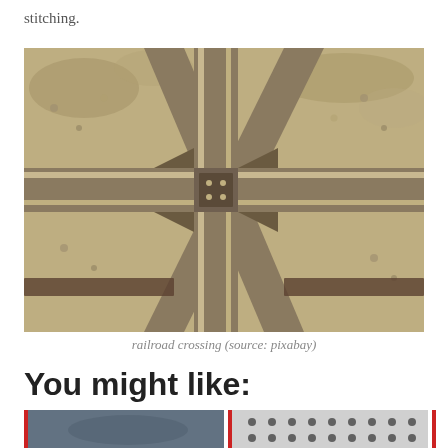stitching.
[Figure (photo): Close-up photograph of a railroad crossing showing intersecting metal rails and gravel ballast from an overhead angle.]
railroad crossing (source: pixabay)
You might like:
[Figure (photo): Two small thumbnail images partially visible at the bottom of the page, separated by red vertical dividers.]